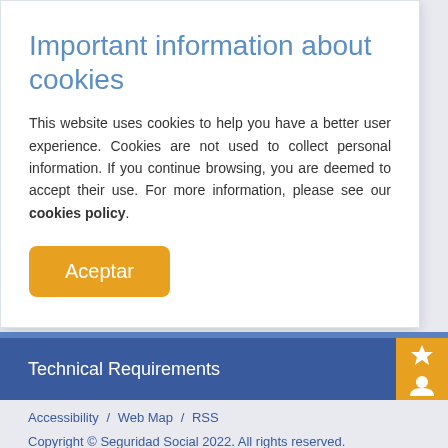Important information about cookies
This website uses cookies to help you have a better user experience. Cookies are not used to collect personal information. If you continue browsing, you are deemed to accept their use. For more information, please see our cookies policy.
Aceptar
Technical Requirements
Accessibility / Web Map / RSS
Copyright © Seguridad Social 2022. All rights reserved.
Legal notice / Cookie Policy